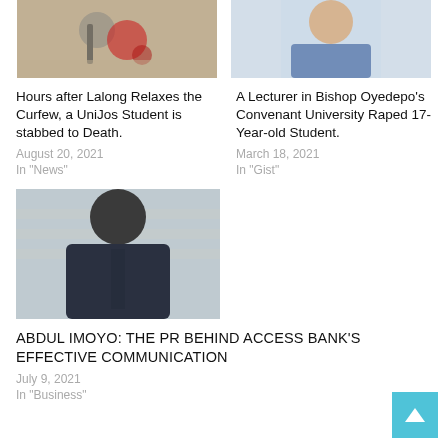[Figure (photo): Top-left image showing a microphone with red decorative elements on a textured background]
[Figure (photo): Top-right image showing a man in a blue shirt against a light background]
Hours after Lalong Relaxes the Curfew, a UniJos Student is stabbed to Death.
August 20, 2021
In "News"
A Lecturer in Bishop Oyedepo's Convenant University Raped 17-Year-old Student.
March 18, 2021
In "Gist"
[Figure (photo): Photo of Abdul Imoyo, a man wearing a dark navy shirt, standing indoors]
ABDUL IMOYO: THE PR BEHIND ACCESS BANK'S EFFECTIVE COMMUNICATION
July 9, 2021
In "Business"